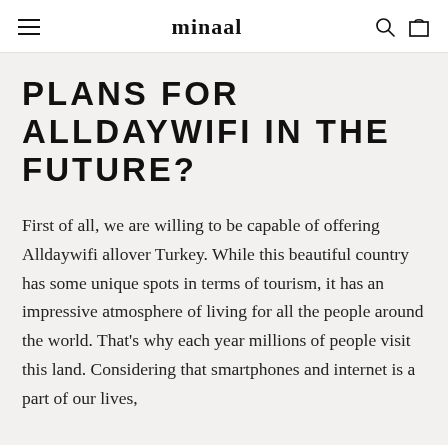minaal
PLANS FOR ALLDAYWIFI IN THE FUTURE?
First of all, we are willing to be capable of offering Alldaywifi allover Turkey. While this beautiful country has some unique spots in terms of tourism, it has an impressive atmosphere of living for all the people around the world. That's why each year millions of people visit this land. Considering that smartphones and internet is a part of our lives,